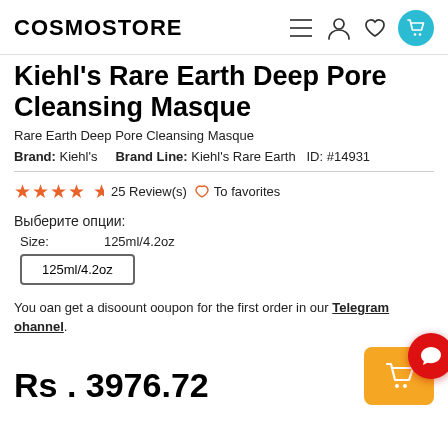COSMOSTORE
Kiehl's Rare Earth Deep Pore Cleansing Masque
Rare Earth Deep Pore Cleansing Masque
Brand: Kiehl's   Brand Line: Kiehl's Rare Earth   ID: #14931
★★★★½  25 Review(s)   ♡ To favorites
Выберите опции:
Size:   125ml/4.2oz
125ml/4.2oz
You can get a discount coupon for the first order in our Telegram channel.
Rs . 3976.72